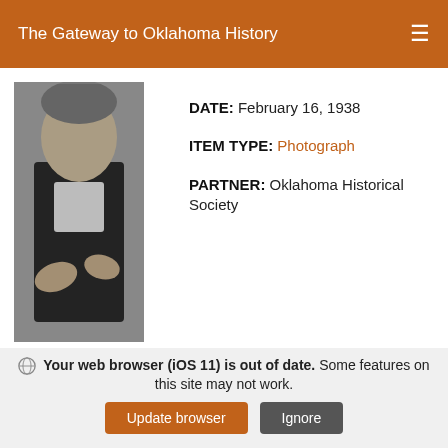The Gateway to Oklahoma History
[Figure (photo): Black and white photograph of a person, partially cropped, showing upper body.]
DATE: February 16, 1938
ITEM TYPE: Photograph
PARTNER: Oklahoma Historical Society
Your web browser (iOS 11) is out of date. Some features on this site may not work.
Update browser | Ignore